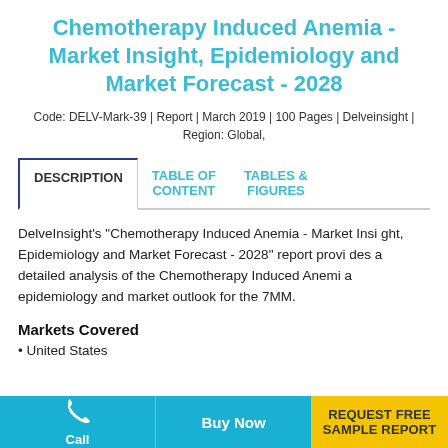Chemotherapy Induced Anemia - Market Insight, Epidemiology and Market Forecast - 2028
Code: DELV-Mark-39 | Report | March 2019 | 100 Pages | Delveinsight | Region: Global,
DESCRIPTION | TABLE OF CONTENT | TABLES & FIGURES
DelveInsight's "Chemotherapy Induced Anemia - Market Insight, Epidemiology and Market Forecast - 2028" report provides a detailed analysis of the Chemotherapy Induced Anemia epidemiology and market outlook for the 7MM.
Markets Covered
• United States
Buy Now | REQUEST FREE SAMPLE REPORT